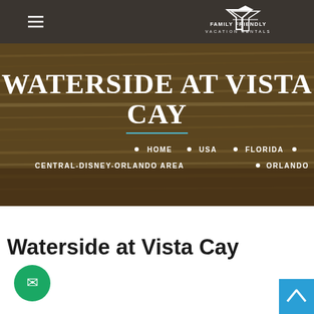Family Friendly Vacation Rentals
WATERSIDE AT VISTA CAY
HOME • USA • FLORIDA • CENTRAL-DISNEY-ORLANDO AREA • ORLANDO
[Figure (screenshot): Screenshot of a vacation rental website header showing a wood-textured background with the title 'Waterside at Vista Cay' and breadcrumb navigation.]
Waterside at Vista Cay